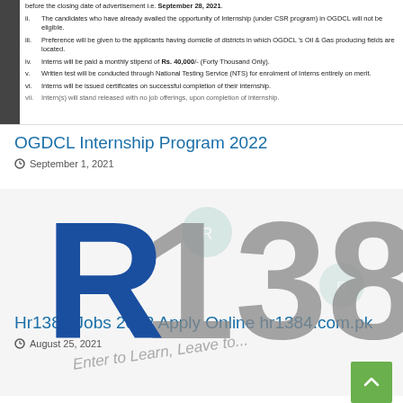[Figure (screenshot): Clipped document image showing numbered list items (i-vii) about OGDCL internship conditions, with dark sidebar on left showing page navigation. Text includes conditions about closing date September 28 2021, CSR program, domicile preference, monthly stipend Rs. 40,000, NTS written test, certificates on completion, and intern release upon completion.]
OGDCL Internship Program 2022
September 1, 2021
[Figure (logo): Large stylized logo image with bold blue letter R on left and large grey numbers 1384 on right, with watermark text 'Enter to Learn, Leave to...' diagonally across the middle. Background is light grey/white.]
Hr1384 Jobs 2022 Apply Online hr1384.com.pk
August 25, 2021